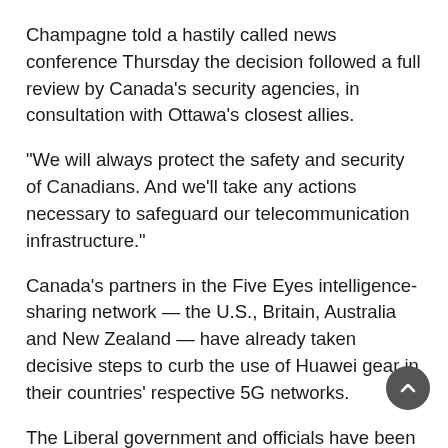Champagne told a hastily called news conference Thursday the decision followed a full review by Canada’s security agencies, in consultation with Ottawa’s closest allies.
“We will always protect the safety and security of Canadians. And we’ll take any actions necessary to safeguard our telecommunication infrastructure.”
Canada’s partners in the Five Eyes intelligence-sharing network — the U.S., Britain, Australia and New Zealand — have already taken decisive steps to curb the use of Huawei gear in their countries’ respective 5G networks.
The Liberal government and officials have been asked repeatedly over the last few years about Ottawa’s 5G intentions.